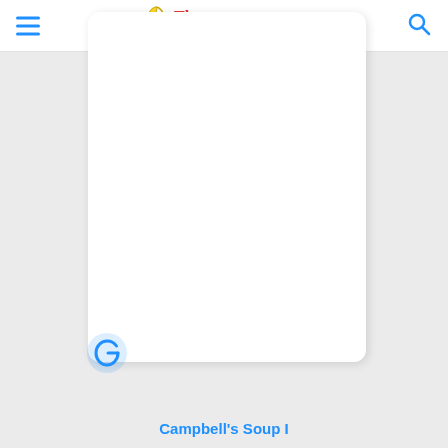The $tory — website header with hamburger menu, logo, and search icon
[Figure (screenshot): White card panel on light gray background, showing an empty white rounded-rectangle card with a G (Grammarly-style) icon at the bottom left corner]
Campbell's Soup I